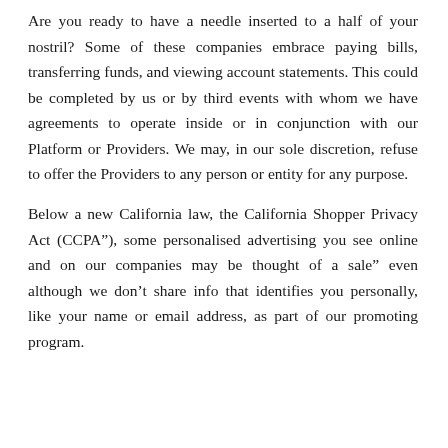Are you ready to have a needle inserted to a half of your nostril? Some of these companies embrace paying bills, transferring funds, and viewing account statements. This could be completed by us or by third events with whom we have agreements to operate inside or in conjunction with our Platform or Providers. We may, in our sole discretion, refuse to offer the Providers to any person or entity for any purpose.
Below a new California law, the California Shopper Privacy Act (CCPA”), some personalised advertising you see online and on our companies may be thought of a sale” even although we don’t share info that identifies you personally, like your name or email address, as part of our promoting program.
(partial) — cut off at bottom of page